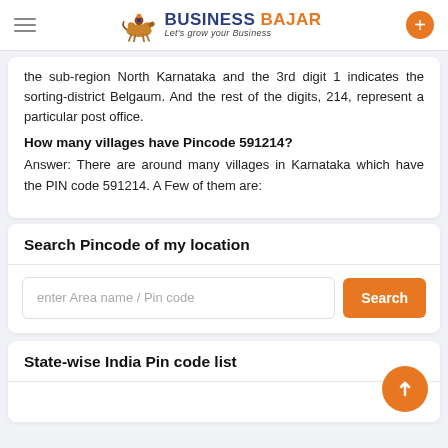Business Bajar - Let's grow your Business
the sub-region North Karnataka and the 3rd digit 1 indicates the sorting-district Belgaum. And the rest of the digits, 214, represent a particular post office.
How many villages have Pincode 591214?
Answer: There are around many villages in Karnataka which have the PIN code 591214. A Few of them are:
Search Pincode of my location
enter Area name / Pin code
State-wise India Pin code list